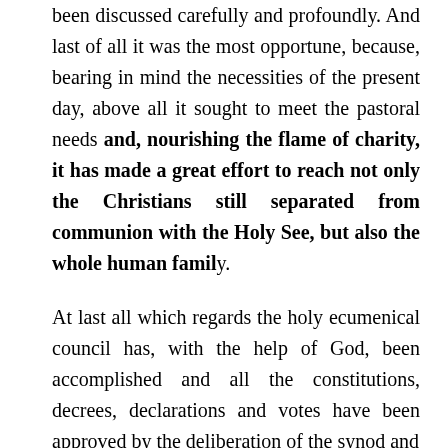been discussed carefully and profoundly. And last of all it was the most opportune, because, bearing in mind the necessities of the present day, above all it sought to meet the pastoral needs and, nourishing the flame of charity, it has made a great effort to reach not only the Christians still separated from communion with the Holy See, but also the whole human family.
At last all which regards the holy ecumenical council has, with the help of God, been accomplished and all the constitutions, decrees, declarations and votes have been approved by the deliberation of the synod and